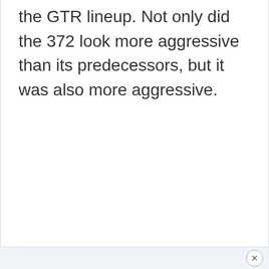the GTR lineup. Not only did the 372 look more aggressive than its predecessors, but it was also more aggressive.
×